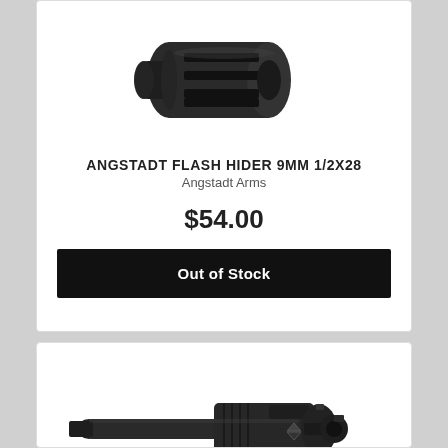[Figure (photo): Product photo of Angstadt Flash Hider 9mm 1/2x28, a black cylindrical muzzle device with slots, viewed from the front-right angle]
ANGSTADT FLASH HIDER 9MM 1/2X28
Angstadt Arms
$54.00
Out of Stock
[Figure (photo): Product photo of a bolt carrier group (BCG) in black, shown at a diagonal angle with the bolt head visible on the right and the carrier extending to the left]